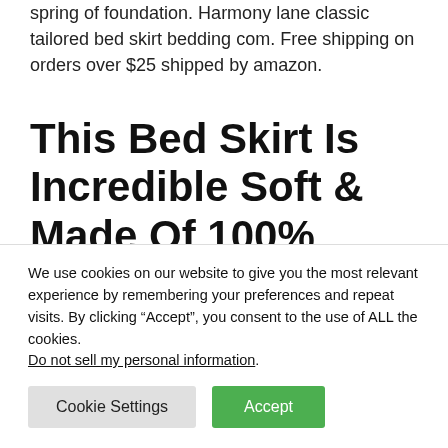spring of foundation. Harmony lane classic tailored bed skirt bedding com. Free shipping on orders over $25 shipped by amazon.
This Bed Skirt Is Incredible Soft & Made Of 100% Egyptian Cotton.
12 inches drop bed skirt solid sage egyptian
We use cookies on our website to give you the most relevant experience by remembering your preferences and repeat visits. By clicking “Accept”, you consent to the use of ALL the cookies. Do not sell my personal information.